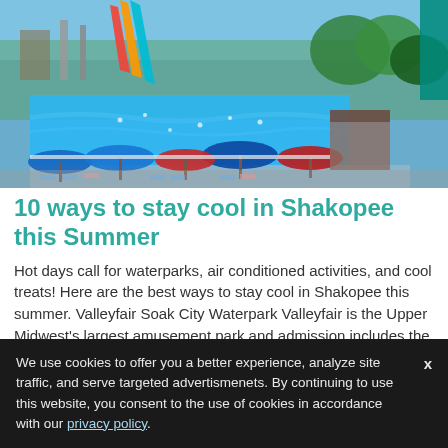[Figure (photo): Aerial view of Valleyfair Soak City Waterpark in Shakopee, showing large wave pool, colorful water slides, red and blue beach umbrellas, lounge chairs, and surrounding amusement park structures on a sunny summer day.]
10 ways to stay cool in Shakopee this Summer
Hot days call for waterparks, air conditioned activities, and cool treats!  Here are the best ways to stay cool in Shakopee this summer. Valleyfair Soak City Waterpark Valleyfair is the Upper Midwest's largest amusement park and admission includes the on-site Valleyfair
We use cookies to offer you a better experience, analyze site traffic, and serve targeted advertismenets. By continuing to use this website, you consent to the use of cookies in accordance with our privacy policy.